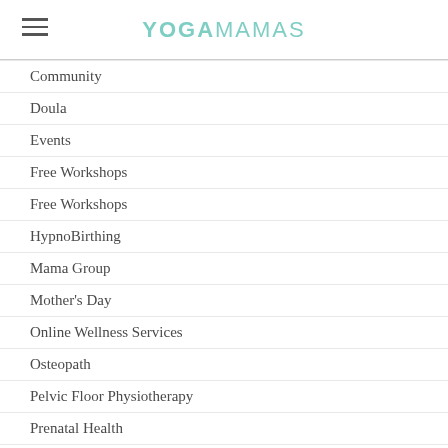YOGAMAMAS
Community
Doula
Events
Free Workshops
Free Workshops
HypnoBirthing
Mama Group
Mother's Day
Online Wellness Services
Osteopath
Pelvic Floor Physiotherapy
Prenatal Health
Prenatal Yoga
Retail
Training
Wellness
Wellness Wednesdays